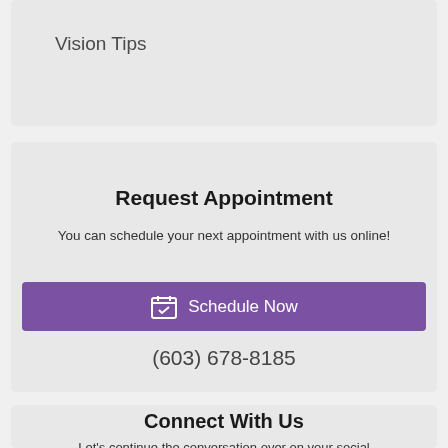Vision Tips
Request Appointment
You can schedule your next appointment with us online!
Schedule Now
(603) 678-8185
Connect With Us
Let's continue the conversation over on your social